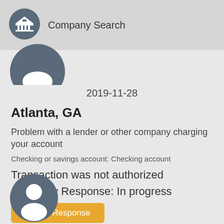Company Search
[Figure (illustration): Partial circular avatar with building/bank icon at top]
2019-11-28
Atlanta, GA
Problem with a lender or other company charging your account
Checking or savings account: Checking account
Transaction was not authorized
Company Response: In progress
Timely Response
[Figure (illustration): Circular avatar with person silhouette icon at bottom]